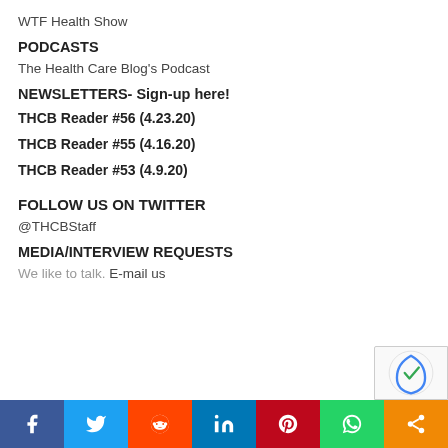WTF Health Show
PODCASTS
The Health Care Blog's Podcast
NEWSLETTERS- Sign-up here!
THCB Reader #56 (4.23.20)
THCB Reader #55 (4.16.20)
THCB Reader #53 (4.9.20)
FOLLOW US ON TWITTER
@THCBStaff
MEDIA/INTERVIEW REQUESTS
We like to talk. E-mail us